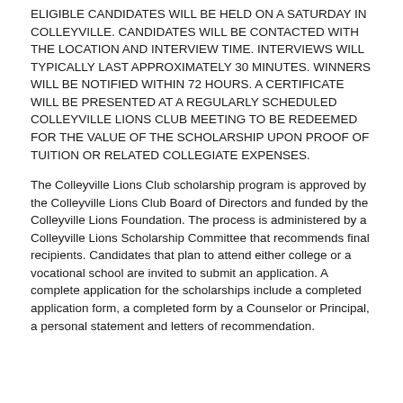ELIGIBLE CANDIDATES WILL BE HELD ON A SATURDAY IN COLLEYVILLE. CANDIDATES WILL BE CONTACTED WITH THE LOCATION AND INTERVIEW TIME. INTERVIEWS WILL TYPICALLY LAST APPROXIMATELY 30 MINUTES. WINNERS WILL BE NOTIFIED WITHIN 72 HOURS. A CERTIFICATE WILL BE PRESENTED AT A REGULARLY SCHEDULED COLLEYVILLE LIONS CLUB MEETING TO BE REDEEMED FOR THE VALUE OF THE SCHOLARSHIP UPON PROOF OF TUITION OR RELATED COLLEGIATE EXPENSES.
The Colleyville Lions Club scholarship program is approved by the Colleyville Lions Club Board of Directors and funded by the Colleyville Lions Foundation. The process is administered by a Colleyville Lions Scholarship Committee that recommends final recipients. Candidates that plan to attend either college or a vocational school are invited to submit an application. A complete application for the scholarships include a completed application form, a completed form by a Counselor or Principal, a personal statement and letters of recommendation.